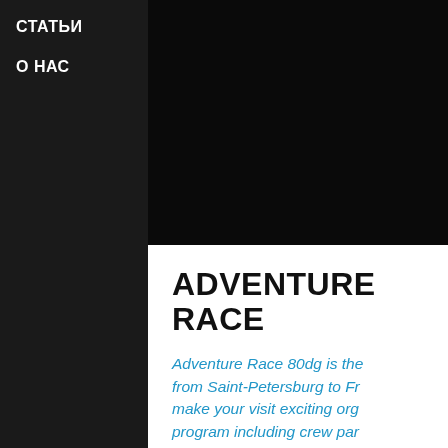СТАТЬИ
О НАС
ADVENTURE RACE
Adventure Race 80dg is the from Saint-Petersburg to Fr make your visit exciting org program including crew par cities and traveling through of Russian North.
Adventure Race 80dg is the international s Josef Land Archipelago. To make your visit